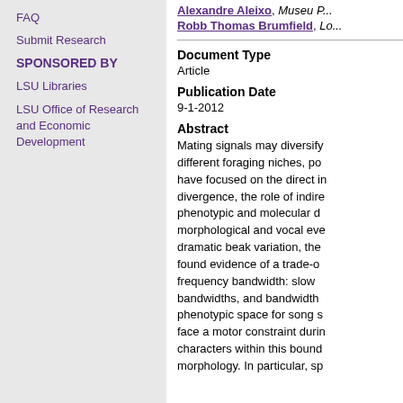FAQ
Submit Research
SPONSORED BY
LSU Libraries
LSU Office of Research and Economic Development
Alexandre Aleixo, Museu P... Robb Thomas Brumfield, Lo...
Document Type
Article
Publication Date
9-1-2012
Abstract
Mating signals may diversify different foraging niches, po have focused on the direct in divergence, the role of indire phenotypic and molecular d morphological and vocal eve dramatic beak variation, the found evidence of a trade-o frequency bandwidth: slow bandwidths, and bandwidth phenotypic space for song s face a motor constraint duri characters within this bound morphology. In particular, sp